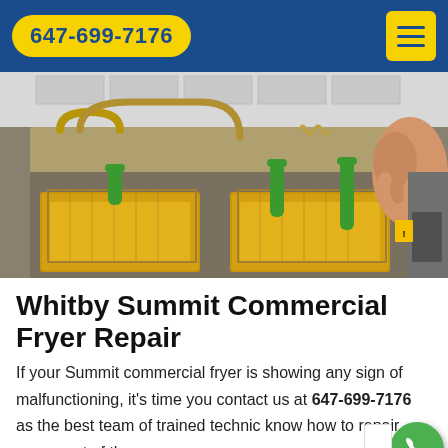647-699-7176
[Figure (photo): Commercial deep fryer with multiple baskets filled with food frying in oil, green-handled basket lifters visible, stainless steel equipment, person's hand visible on right side]
Whitby Summit Commercial Fryer Repair
If your Summit commercial fryer is showing any sign of malfunctioning, it's time you contact us at 647-699-7176 as the best team of trained technic know how to repair every part of the